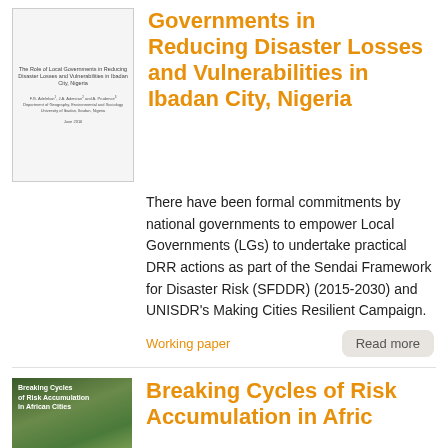[Figure (illustration): Thumbnail of a working paper cover page titled 'The Role of Local Governments in Reducing Disaster Losses and Vulnerabilities in Ibadan City, Nigeria' with author names and date]
Governments in Reducing Disaster Losses and Vulnerabilities in Ibadan City, Nigeria
There have been formal commitments by national governments to empower Local Governments (LGs) to undertake practical DRR actions as part of the Sendai Framework for Disaster Risk (SFDDR) (2015-2030) and UNISDR's Making Cities Resilient Campaign.
Working paper
Read more
[Figure (photo): Photo of people in a field/outdoor setting with green vegetation, with text overlay reading 'Breaking Cycles of Risk Accumulation in African Cities']
Breaking Cycles of Risk Accumulation in Afri...